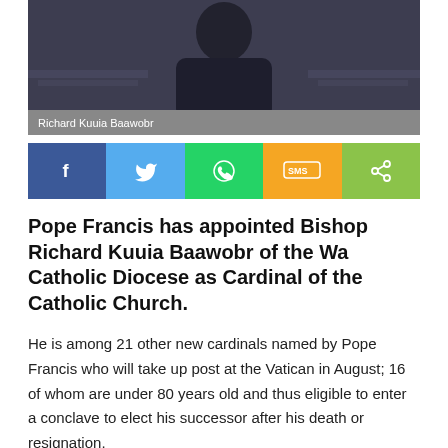[Figure (photo): Photo of Richard Kuuia Baawobr, a man in a dark suit, with a gray caption bar below reading 'Richard Kuuia Baawobr']
[Figure (infographic): Social media share bar with five buttons: Facebook (blue), Twitter (light blue), WhatsApp (green), SMS (orange/yellow), Share (green)]
Pope Francis has appointed Bishop Richard Kuuia Baawobr of the Wa Catholic Diocese as Cardinal of the Catholic Church.
He is among 21 other new cardinals named by Pope Francis who will take up post at the Vatican in August; 16 of whom are under 80 years old and thus eligible to enter a conclave to elect his successor after his death or resignation.